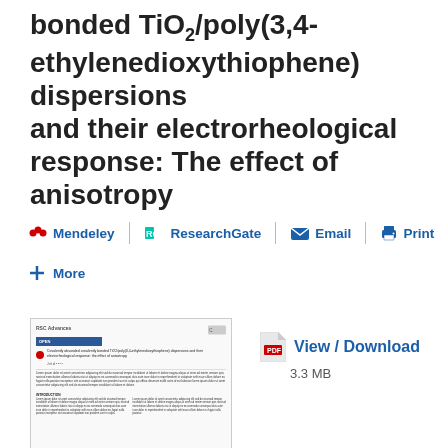bonded TiO2/poly(3,4-ethylenedioxythiophene) dispersions and their electrorheological response: The effect of anisotropy
Mendeley | RG ResearchGate | Email | Print |
+ More
[Figure (screenshot): Thumbnail preview of the article PDF showing the RSC Advances journal page with title, authors, abstract and body text in two-column format.]
View / Download
3.3 MB